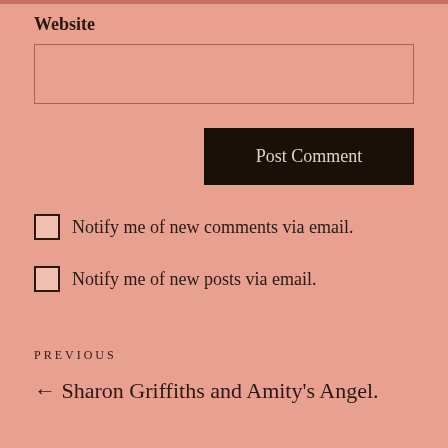Website
[Figure (other): Website text input field, empty]
Post Comment
Notify me of new comments via email.
Notify me of new posts via email.
PREVIOUS
← Sharon Griffiths and Amity's Angel.